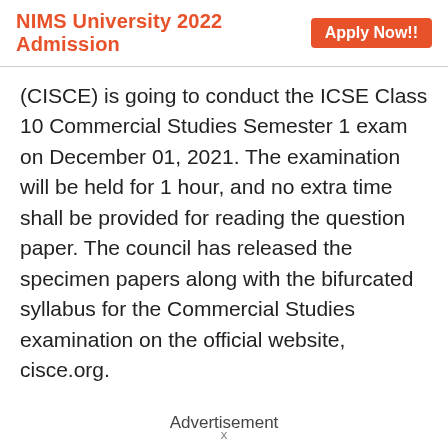NIMS University 2022 Admission   Apply Now!!
(CISCE) is going to conduct the ICSE Class 10 Commercial Studies Semester 1 exam on December 01, 2021. The examination will be held for 1 hour, and no extra time shall be provided for reading the question paper. The council has released the specimen papers along with the bifurcated syllabus for the Commercial Studies examination on the official website, cisce.org.
Advertisement
x